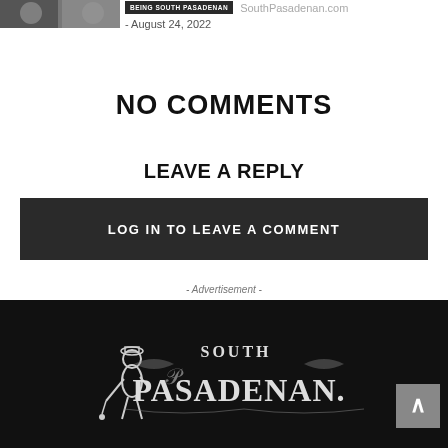[Figure (photo): Small photo thumbnail of people at top left]
BEING SOUTH PASADENAN   SouthPasadenan.com
- August 24, 2022
NO COMMENTS
LEAVE A REPLY
LOG IN TO LEAVE A COMMENT
- Advertisement -
[Figure (logo): South Pasadenan logo with golfer figure on black background]
Back to top button